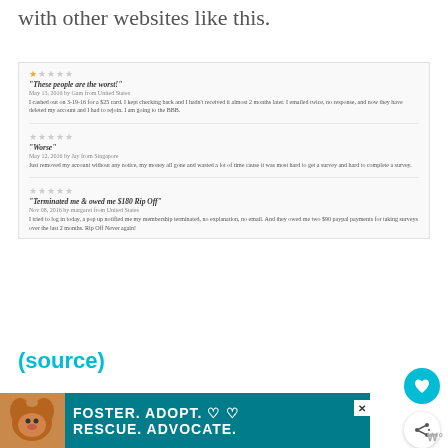with other websites like this.
[Figure (screenshot): Screenshot of three negative user reviews with 1-star ratings. Review 1: 'These people are the worst!' - May 13, 2016 by Gam from United States. I cashed out on 3-19-16 for a $25 card. I kept checking back and I hadn't received it almost 2 months later. I emailed twice, no response, and now they have deleted my account and I had to rejoin. I am going to the BBB. Review 2: 'Worse' - May 12, 2016 by Jay from Singapore. Just removed my account without any notice, my money all gone and wasted a lot of time cause it was most hard to get a survey and hard to complete a survey. Review 3: 'Terminated me & owed me $180 Rip Off' - Nov 08, 2016 by margaret from United States. I tried to log in today, a pop up notified me my membership terminated, no explanation, no email. And they owed me two $90 paypal payments for taking surveys over the last 2 months. Rip Off Never again!]
(source)
Generally complaints are centred around...
Accounts being suddenly
[Figure (photo): Advertisement banner: FOSTER. ADOPT. RESCUE. ADVOCATE. with dog photo]